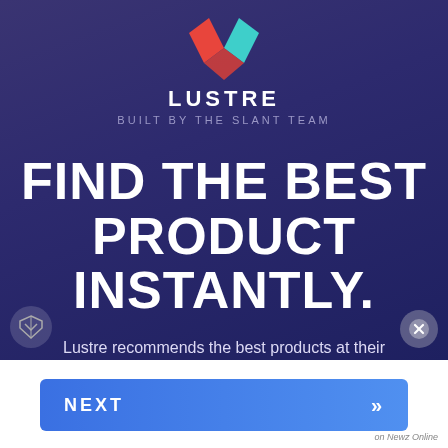[Figure (logo): Lustre logo: two overlapping chevrons/hearts, red-orange on left, teal-cyan on right, forming a heart shape]
LUSTRE
BUILT BY THE SLANT TEAM
FIND THE BEST PRODUCT INSTANTLY.
Lustre recommends the best products at their lowest prices.
NEXT
on Newz Online